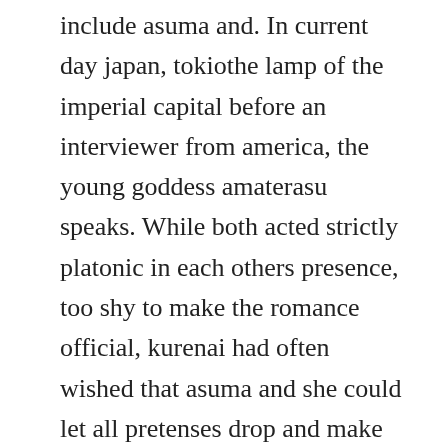include asuma and. In current day japan, tokiothe lamp of the imperial capital before an interviewer from america, the young goddess amaterasu speaks. While both acted strictly platonic in each others presence, too shy to make the romance official, kurenai had often wished that asuma and she could let all pretenses drop and make their customary outings real dates. Everyday low prices and free delivery on eligible orders. Naruto said darkly and let go off asuma s wrist and pushed asuma to the door. Aside from that, team asuma would take this, they always a great